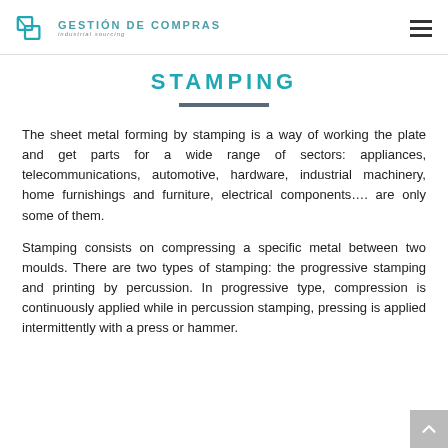Gestión de Compras — industrial sourcing
STAMPING
The sheet metal forming by stamping is a way of working the plate and get parts for a wide range of sectors: appliances, telecommunications, automotive, hardware, industrial machinery, home furnishings and furniture, electrical components…. are only some of them.
Stamping consists on compressing a specific metal between two moulds. There are two types of stamping: the progressive stamping and printing by percussion. In progressive type, compression is continuously applied while in percussion stamping, pressing is applied intermittently with a press or hammer.